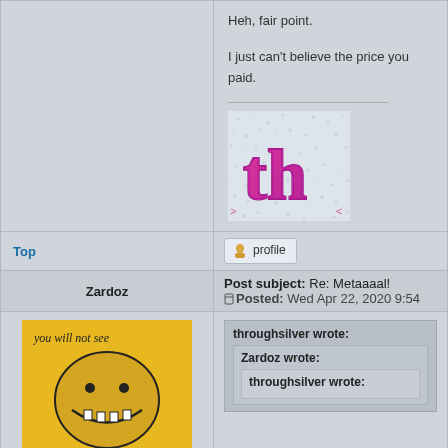Heh, fair point.
I just can't believe the price you paid.
[Figure (logo): Stylized pink/purple 'th' gothic lettering logo on speckled background]
Top
[Figure (other): Profile button with icon]
Post subject: Re: Metaaaal!
Posted: Wed Apr 22, 2020 9:54
Zardoz
[Figure (illustration): Yellow avatar image with cartoon face saying 'you will not see', Hibernating Druid rank]
throughsilver wrote:
Zardoz wrote:
throughsilver wrote: